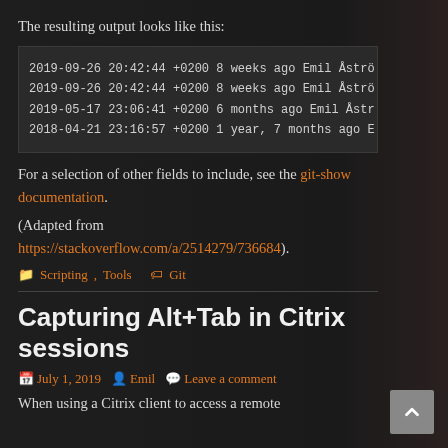The resulting output looks like this:
2019-09-26 20:42:44 +0200 8 weeks ago Emil Åströ
2019-09-26 20:42:44 +0200 8 weeks ago Emil Åströ
2019-05-17 23:06:41 +0200 6 months ago Emil Åstr
2018-04-21 23:16:57 +0200 1 year, 7 months ago E
For a selection of other fields to include, see the git-show documentation.
(Adapted from https://stackoverflow.com/a/2514279/736684).
Scripting, Tools  Git
Capturing Alt+Tab in Citrix sessions
July 1, 2019  Emil  Leave a comment
When using a Citrix client to access a remote